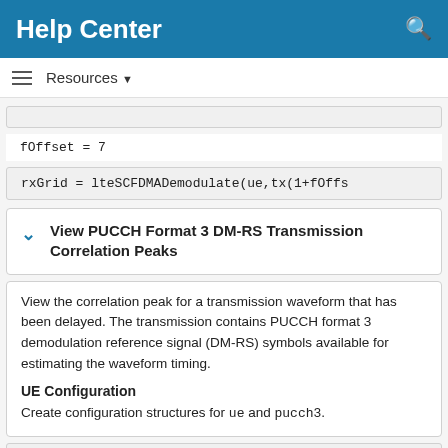Help Center
Resources
View PUCCH Format 3 DM-RS Transmission Correlation Peaks
View the correlation peak for a transmission waveform that has been delayed. The transmission contains PUCCH format 3 demodulation reference signal (DM-RS) symbols available for estimating the waveform timing.
UE Configuration
Create configuration structures for ue and pucch3.